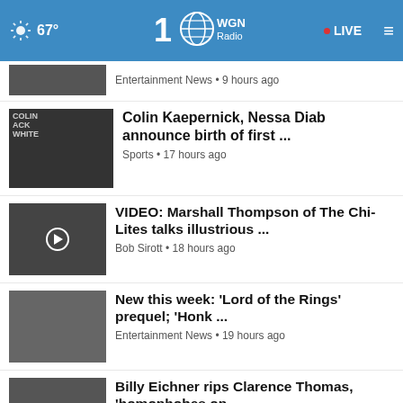67° WGN Radio • LIVE
Entertainment News • 9 hours ago
Colin Kaepernick, Nessa Diab announce birth of first … Sports • 17 hours ago
VIDEO: Marshall Thompson of The Chi-Lites talks illustrious … Bob Sirott • 18 hours ago
New this week: 'Lord of the Rings' prequel; 'Honk … Entertainment News • 19 hours ago
Billy Eichner rips Clarence Thomas, 'homophobes on … News • 21 hours ago
Taylor Swift wins top prize, announces new album
YOU DO BUSINESS IN THE MIDWEST. Associated Bank Member FDIC LEARN MORE